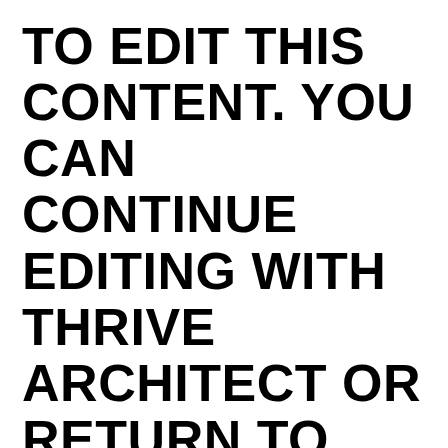TO EDIT THIS CONTENT. YOU CAN CONTINUE EDITING WITH THRIVE ARCHITECT OR RETURN TO THE DEFAULT WORDPRESS EDITOR LAUNCH THRIVE ARCHITECT